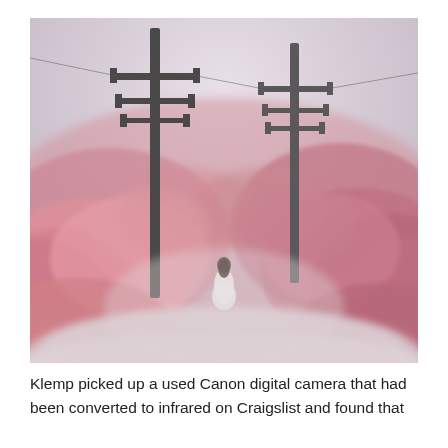[Figure (photo): An atmospheric infrared photograph showing a person in a white dress standing in a field of pink-hued vegetation, flanked by two tall utility/telegraph poles. The scene has a dreamy, misty quality with soft pink tones throughout the foliage and a pale sky.]
Klemp picked up a used Canon digital camera that had been converted to infrared on Craigslist and found that